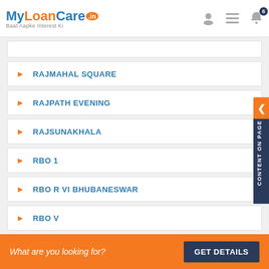MyLoanCare.in - Baat Aapke Interest Ki
RAJMAHAL SQUARE
RAJPATH EVENING
RAJSUNAKHALA
RBO 1
RBO R VI BHUBANESWAR
RBO V
RCE CAMPUS
RRL CAMPUS
What are you looking for? GET DETAILS